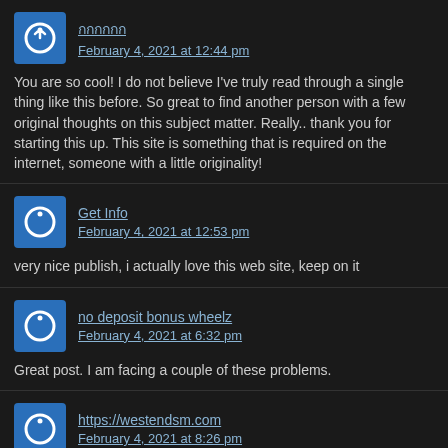กกกกกก
February 4, 2021 at 12:44 pm
You are so cool! I do not believe I've truly read through a single thing like this before. So great to find another person with a few original thoughts on this subject matter. Really.. thank you for starting this up. This site is something that is required on the internet, someone with a little originality!
Get Info
February 4, 2021 at 12:53 pm
very nice publish, i actually love this web site, keep on it
no deposit bonus wheelz
February 4, 2021 at 6:32 pm
Great post. I am facing a couple of these problems.
https://westendsm.com
February 4, 2021 at 8:26 pm